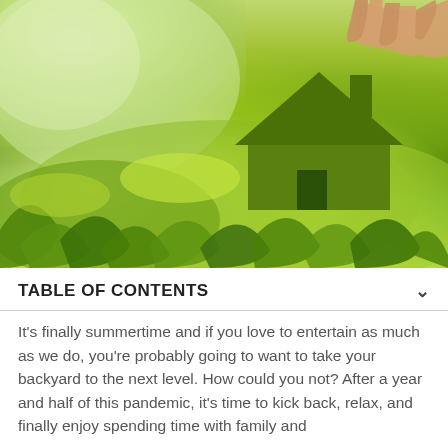[Figure (photo): A hand holding a green grass-textured cutout of a house shape above a lush green garden field background.]
TABLE OF CONTENTS
It's finally summertime and if you love to entertain as much as we do, you're probably going to want to take your backyard to the next level. How could you not? After a year and half of this pandemic, it's time to kick back, relax, and finally enjoy spending time with family and